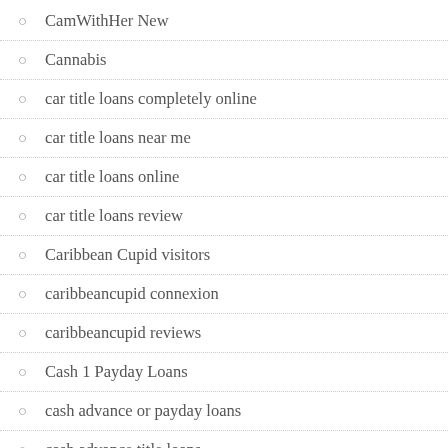CamWithHer New
Cannabis
car title loans completely online
car title loans near me
car title loans online
car title loans review
Caribbean Cupid visitors
caribbeancupid connexion
caribbeancupid reviews
Cash 1 Payday Loans
cash advance or payday loans
cash advance title loans